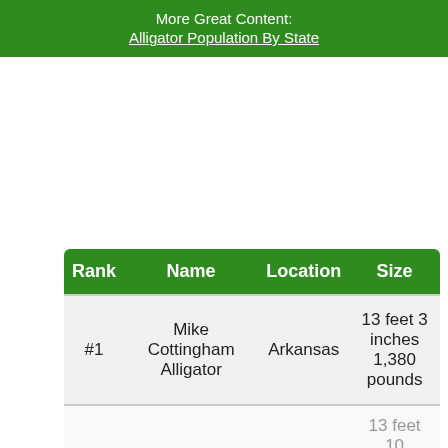More Great Content: Alligator Population By State
| Rank | Name | Location | Size |
| --- | --- | --- | --- |
| #1 | Mike Cottingham Alligator | Arkansas | 13 feet 3 inches 1,380 pounds |
|  |  |  | 13 feet 10 inches |